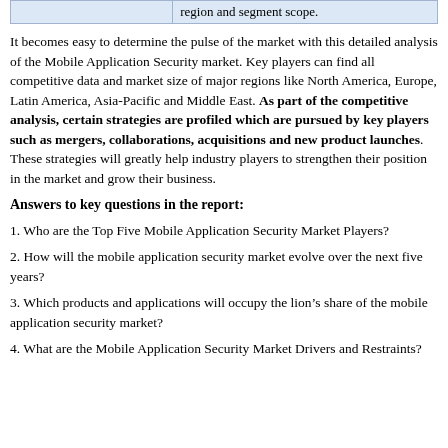|  | region and segment scope. |
| --- | --- |
It becomes easy to determine the pulse of the market with this detailed analysis of the Mobile Application Security market. Key players can find all competitive data and market size of major regions like North America, Europe, Latin America, Asia-Pacific and Middle East. As part of the competitive analysis, certain strategies are profiled which are pursued by key players such as mergers, collaborations, acquisitions and new product launches. These strategies will greatly help industry players to strengthen their position in the market and grow their business.
Answers to key questions in the report:
1. Who are the Top Five Mobile Application Security Market Players?
2. How will the mobile application security market evolve over the next five years?
3. Which products and applications will occupy the lion’s share of the mobile application security market?
4. What are the Mobile Application Security Market Drivers and Restraints?